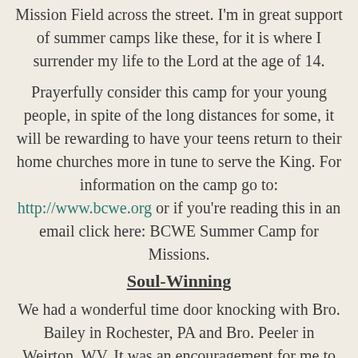Mission Field across the street. I'm in great support of summer camps like these, for it is where I surrender my life to the Lord at the age of 14.
Prayerfully consider this camp for your young people, in spite of the long distances for some, it will be rewarding to have your teens return to their home churches more in tune to serve the King. For information on the camp go to: http://www.bcwe.org or if you're reading this in an email click here: BCWE Summer Camp for Missions.
Soul-Winning
We had a wonderful time door knocking with Bro. Bailey in Rochester, PA and Bro. Peeler in Weirton, WV. It was an encouragement for me to see God's people head out and inviting folks